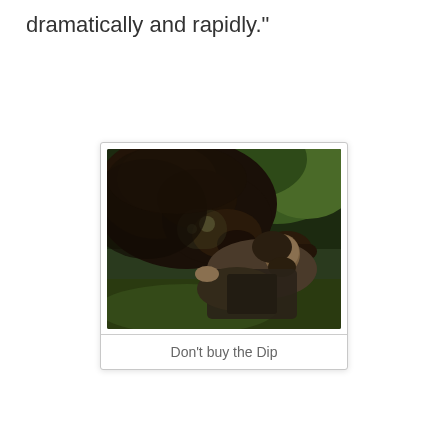dramatically and rapidly."
[Figure (photo): A man being attacked by a bear in a forest scene, resembling a movie still. Caption below reads 'Don't buy the Dip'.]
Don't buy the Dip